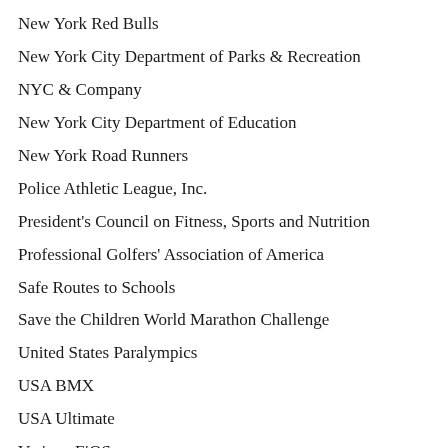New York Red Bulls
New York City Department of Parks & Recreation
NYC & Company
New York City Department of Education
New York Road Runners
Police Athletic League, Inc.
President's Council on Fitness, Sports and Nutrition
Professional Golfers' Association of America
Safe Routes to Schools
Save the Children World Marathon Challenge
United States Paralympics
USA BMX
USA Ultimate
Verizon FiOS